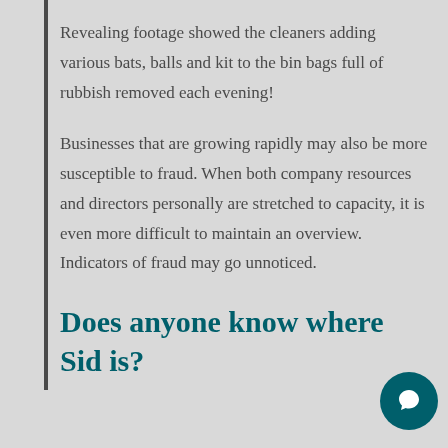Revealing footage showed the cleaners adding various bats, balls and kit to the bin bags full of rubbish removed each evening!
Businesses that are growing rapidly may also be more susceptible to fraud. When both company resources and directors personally are stretched to capacity, it is even more difficult to maintain an overview. Indicators of fraud may go unnoticed.
Does anyone know where Sid is?